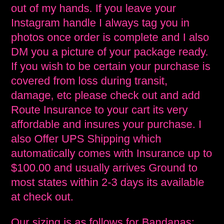out of my hands. If you leave your Instagram handle I always tag you in photos once order is complete and I also DM you a picture of your package ready.  If you wish to be certain your purchase is covered from loss during transit, damage, etc please check out and add Route Insurance to your cart its very affordable and insures your purchase. I also Offer UPS Shipping which automatically comes with Insurance up to $100.00 and usually arrives Ground to most states within 2-3 days its available at check out.
Our sizing is as follows for Bandanas: This is the approx neck size in inches that each size will fit.
XS: 6-10"
Small: 11-14"
Medium: 15-18"
Large: 19-22"
X-Large: 23-26"
Please leave in the notes section your pets neck size in inches